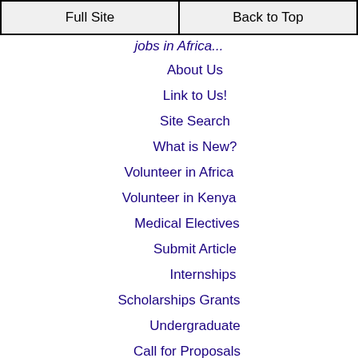Full Site | Back to Top
...in Africa (truncated)
About Us
Link to Us!
Site Search
What is New?
Volunteer in Africa
Volunteer in Kenya
Medical Electives
Submit Article
Internships
Scholarships Grants
Undergraduate
Call for Proposals
Study Abroad
KUCCPS
KCSE Notes
KCSE Past Papers